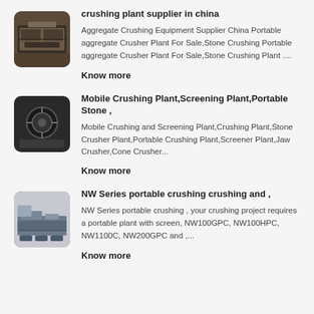[Figure (photo): Thumbnail photo of a crushing plant machine in a factory setting, dark industrial equipment]
crushing plant supplier in china
Aggregate Crushing Equipment Supplier China Portable aggregate Crusher Plant For Sale,Stone Crushing Portable aggregate Crusher Plant For Sale,Stone Crushing Plant ....
Know more
[Figure (photo): Thumbnail photo of mobile crushing plant machinery, dark industrial equipment with circular components]
Mobile Crushing Plant,Screening Plant,Portable Stone ,
Mobile Crushing and Screening Plant,Crushing Plant,Stone Crusher Plant,Portable Crushing Plant,Screener Plant,Jaw Crusher,Cone Crusher...
Know more
[Figure (photo): Thumbnail photo of NW Series portable crushing equipment, large blue-grey industrial machine]
NW Series portable crushing crushing and ,
NW Series portable crushing , your crushing project requires a portable plant with screen, NW100GPC, NW100HPC, NW1100C, NW200GPC and ,...
Know more